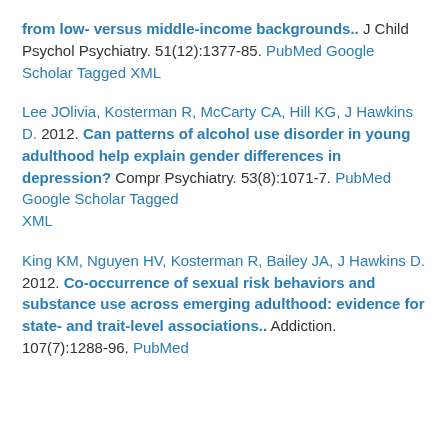from low- versus middle-income backgrounds.. J Child Psychol Psychiatry. 51(12):1377-85. PubMed Google Scholar Tagged XML
Lee JOlivia, Kosterman R, McCarty CA, Hill KG, J Hawkins D. 2012. Can patterns of alcohol use disorder in young adulthood help explain gender differences in depression? Compr Psychiatry. 53(8):1071-7. PubMed Google Scholar Tagged XML
King KM, Nguyen HV, Kosterman R, Bailey JA, J Hawkins D. 2012. Co-occurrence of sexual risk behaviors and substance use across emerging adulthood: evidence for state- and trait-level associations.. Addiction. 107(7):1288-96. PubMed